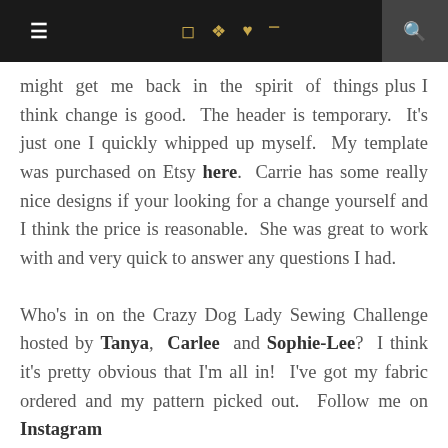≡  [instagram] [pinterest] [heart] [rss]  [search]
might get me back in the spirit of things plus I think change is good. The header is temporary. It's just one I quickly whipped up myself. My template was purchased on Etsy here. Carrie has some really nice designs if your looking for a change yourself and I think the price is reasonable. She was great to work with and very quick to answer any questions I had.

Who's in on the Crazy Dog Lady Sewing Challenge hosted by Tanya, Carlee and Sophie-Lee? I think it's pretty obvious that I'm all in! I've got my fabric ordered and my pattern picked out. Follow me on Instagram